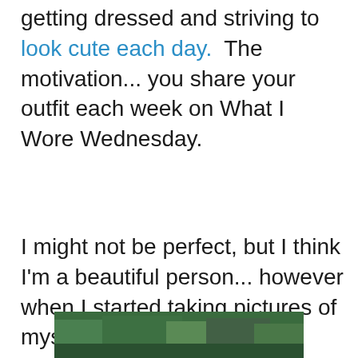getting dressed and striving to look cute each day. The motivation... you share your outfit each week on What I Wore Wednesday.
I might not be perfect, but I think I'm a beautiful person... however when I started taking pictures of myself each week I was horrified! My pictures with our little old camera in a poorly lit room came out looking terrible.. Then I would look at all these other moms looking perfect!
[Figure (photo): Partial view of an outdoor photo, green foliage visible at bottom of page]